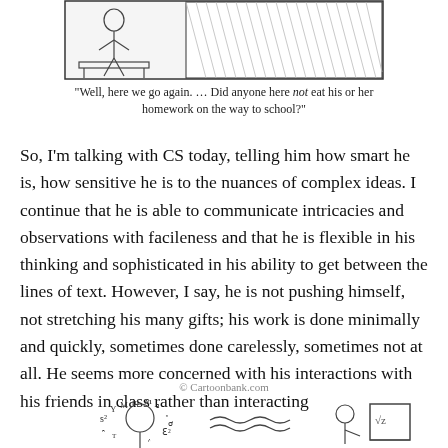[Figure (illustration): Top portion of a classroom cartoon showing a teacher at the front and students, with a hatched blackboard area]
"Well, here we go again. … Did anyone here not eat his or her homework on the way to school?"
So, I'm talking with CS today, telling him how smart he is, how sensitive he is to the nuances of complex ideas. I continue that he is able to communicate intricacies and observations with facileness and that he is flexible in his thinking and sophisticated in his ability to get between the lines of text. However, I say, he is not pushing himself, not stretching his many gifts; his work is done minimally and quickly, sometimes done carelessly, sometimes not at all. He seems more concerned with his interactions with his friends in class rather than interacting
© Cartoonbank.com
[Figure (illustration): Bottom partial cartoon showing a figure with letters/symbols around their head and another figure to the right near a chalkboard]